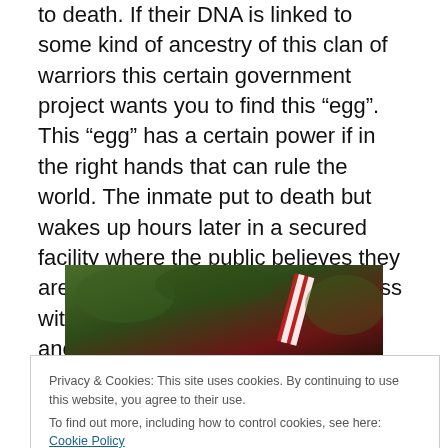to death. If their DNA is linked to some kind of ancestry of this clan of warriors this certain government project wants you to find this “egg”. This “egg” has a certain power if in the right hands that can rule the world. The inmate put to death but wakes up hours later in a secured facility where the public believes they are dead. Then some scientists mess with the brain trying to bring out the ancestor they are looking for? It’s weird but also too I was never a fan of the game so who knows as I give this time filler 1 ½ stars.
[Figure (photo): Partially visible movie/game cover image showing foliage and a red and white striped object, with a red logo at the bottom.]
Privacy & Cookies: This site uses cookies. By continuing to use this website, you agree to their use.
To find out more, including how to control cookies, see here: Cookie Policy